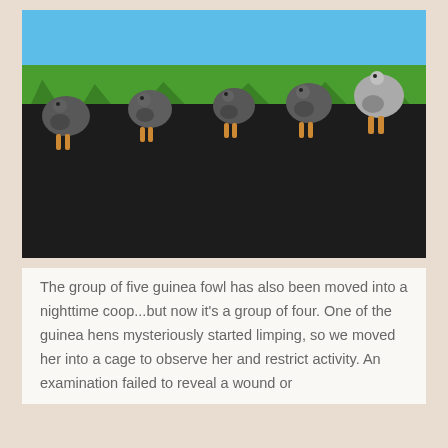[Figure (photo): Five guinea fowl (helmeted guineafowl) standing on a dark asphalt/gravel surface with green trees and blue sky in the background. Four birds are visible prominently with grey speckled plumage; the rightmost bird appears larger and lighter in color.]
The group of five guinea fowl has also been moved into a nighttime coop...but now it's a group of four. One of the guinea hens mysteriously started limping, so we moved her into a cage to observe her and restrict activity. An examination failed to reveal a wound or